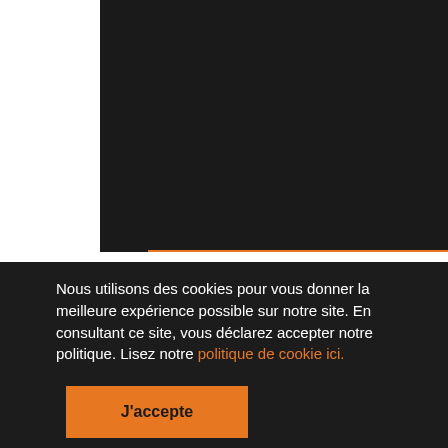[Figure (screenshot): Dark black/near-black rectangle representing a video or image area with an orange progress/navigation bar at the bottom]
Nous utilisons des cookies pour vous donner la meilleure expérience possible sur notre site. En consultant ce site, vous déclarez accepter notre politique. Lisez notre politique de cookie ici.
J'accepte